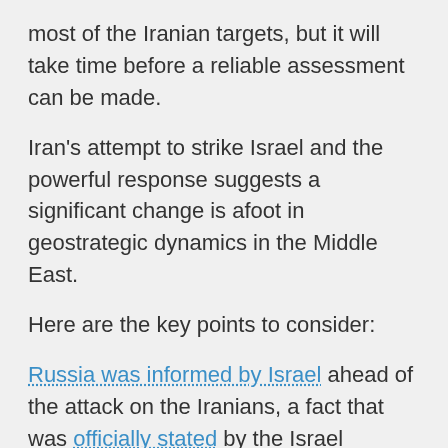most of the Iranian targets, but it will take time before a reliable assessment can be made.
Iran's attempt to strike Israel and the powerful response suggests a significant change is afoot in geostrategic dynamics in the Middle East.
Here are the key points to consider:
Russia was informed by Israel ahead of the attack on the Iranians, a fact that was officially stated by the Israel Defense Ministry spokesperson and reported by the Russian press. It is noteworthy that there were only two foreign visitors to Russia's 73rd annual Victory Parade and its March of the Immortals: the President of Serbia, Aleksandar Vučić, and Netanyahu.
When President Putin offered to pin the Ribbon of St. George to their jackets, Vučić refused, Netanyahu...